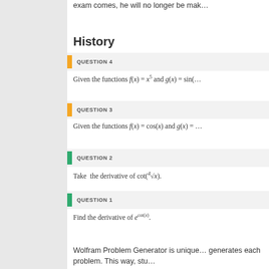exam comes, he will no longer be mak...
History
QUESTION 4 — Given the functions f(x) = x^5 and g(x) = sin(...)
QUESTION 3 — Given the functions f(x) = cos(x) and g(x) = ...
QUESTION 2 — Take the derivative of cot(4th-root(x)).
QUESTION 1 — Find the derivative of e^(cot(x)).
Wolfram Problem Generator is unique... generates each problem. This way, stu...